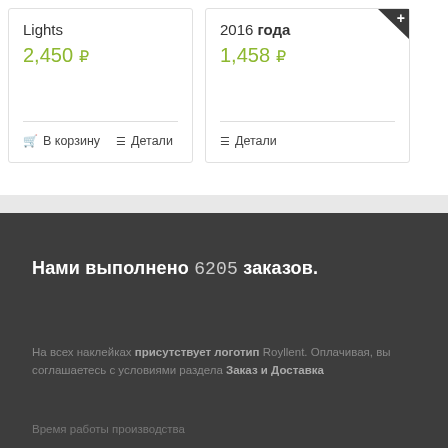Lights
2,450 Р
В корзину   Детали
2016 года
1,458 Р
Детали
Нами выполнено 6205 заказов.
На всех наклейках присутствует логотип Royllent. Оплачивая, вы соглашаетесь с условиями раздела Заказ и Доставка
Время работы производства